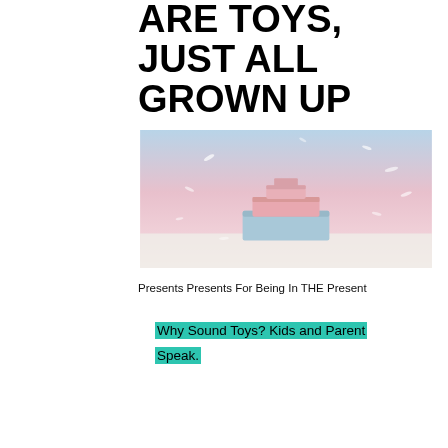ARE TOYS, JUST ALL GROWN UP
[Figure (photo): Stacked pink and blue gift boxes on a white surface with a soft pink-to-blue gradient background, feathers floating in the air around them.]
Presents Presents For Being In THE Present
Why Sound Toys?  Kids and Parent Speak.